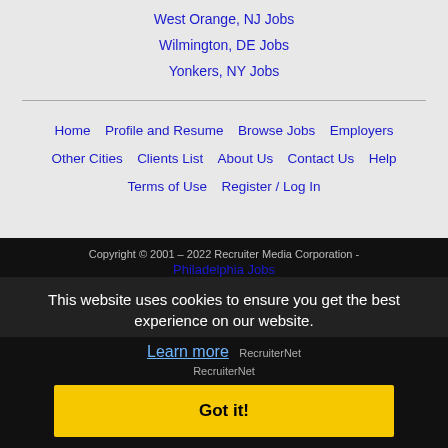West Orange, NJ Jobs
Wilmington, DE Jobs
Yonkers, NY Jobs
Home  Profile and Resume  Browse Jobs  Employers  Other Cities  Clients List  About Us  Contact Us  Help  Terms of Use  Register / Log In
Copyright © 2001 – 2022 Recruiter Media Corporation - Philadelphia Jobs
This website uses cookies to ensure you get the best experience on our website.
Learn more
Got it!